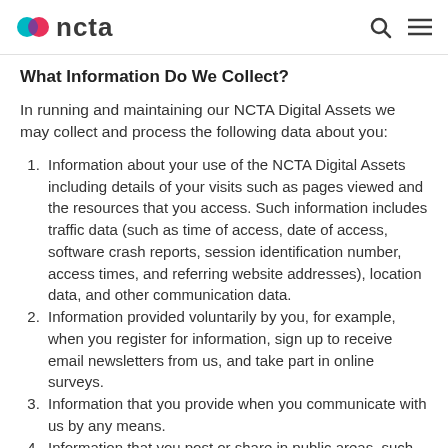ncta
What Information Do We Collect?
In running and maintaining our NCTA Digital Assets we may collect and process the following data about you:
Information about your use of the NCTA Digital Assets including details of your visits such as pages viewed and the resources that you access. Such information includes traffic data (such as time of access, date of access, software crash reports, session identification number, access times, and referring website addresses), location data, and other communication data.
Information provided voluntarily by you, for example, when you register for information, sign up to receive email newsletters from us, and take part in online surveys.
Information that you provide when you communicate with us by any means.
Information that you post or share in public areas, such as feedback sections or message boards. Please note that...